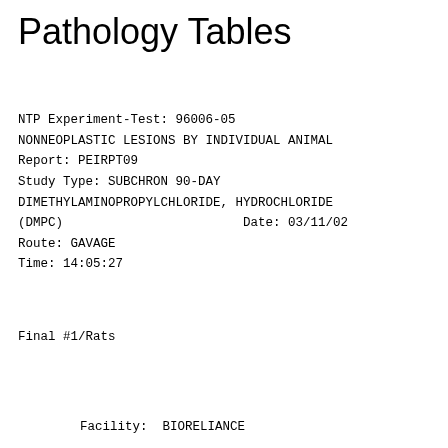Pathology Tables
NTP Experiment-Test: 96006-05
NONNEOPLASTIC LESIONS BY INDIVIDUAL ANIMAL
Report: PEIRPT09
Study Type: SUBCHRON 90-DAY
DIMETHYLAMINOPROPYLCHLORIDE, HYDROCHLORIDE
(DMPC)                        Date: 03/11/02
Route: GAVAGE
Time: 14:05:27
Final #1/Rats
Facility:  BIORELIANCE